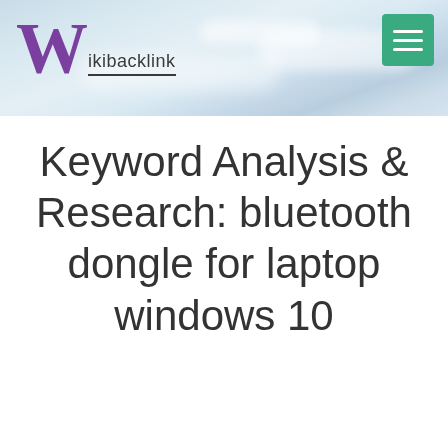Wikibacklink
Keyword Analysis & Research: bluetooth dongle for laptop windows 10